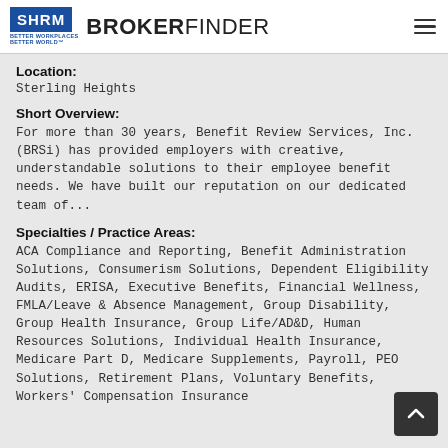SHRM BROKERFINDER
Location:
Sterling Heights
Short Overview:
For more than 30 years, Benefit Review Services, Inc. (BRSi) has provided employers with creative, understandable solutions to their employee benefit needs. We have built our reputation on our dedicated team of...
Specialties / Practice Areas:
ACA Compliance and Reporting, Benefit Administration Solutions, Consumerism Solutions, Dependent Eligibility Audits, ERISA, Executive Benefits, Financial Wellness, FMLA/Leave & Absence Management, Group Disability, Group Health Insurance, Group Life/AD&D, Human Resources Solutions, Individual Health Insurance, Medicare Part D, Medicare Supplements, Payroll, PEO Solutions, Retirement Plans, Voluntary Benefits, Workers' Compensation Insurance